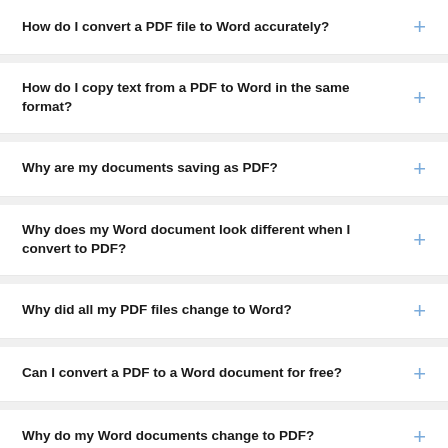How do I convert a PDF file to Word accurately?
How do I copy text from a PDF to Word in the same format?
Why are my documents saving as PDF?
Why does my Word document look different when I convert to PDF?
Why did all my PDF files change to Word?
Can I convert a PDF to a Word document for free?
Why do my Word documents change to PDF?